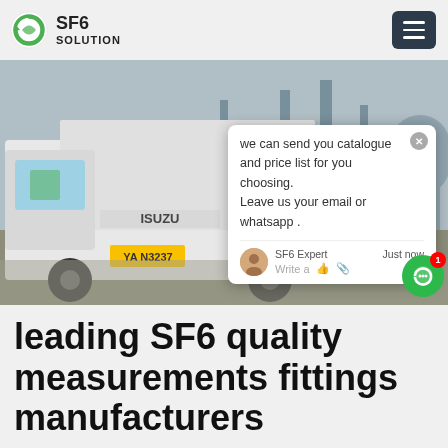SF6 SOLUTION
[Figure (photo): An Isuzu truck (license plate YA N3237) parked at an electrical substation with large SF6 gas equipment and transformers in the background. A chat popup overlay is visible on the right side with text: 'we can send you catalogue and price list for you choosing. Leave us your email or whatsapp .' Attributed to SF6 Expert, just now.]
leading SF6 quality measurements fittings manufacturers